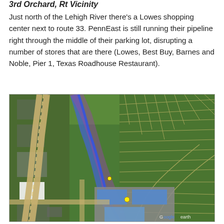3rd Orchard, Rt Vicinity
Just north of the Lehigh River there's a Lowes shopping center next to route 33. PennEast is still running their pipeline right through the middle of their parking lot, disrupting a number of stores that are there (Lowes, Best Buy, Barnes and Noble, Pier 1, Texas Roadhouse Restaurant).
[Figure (map): Aerial/satellite Google Earth map showing pipeline route (highlighted in blue and purple/red overlay) running through a commercial shopping center area north of the Lehigh River, near route 33. The map shows parking lots, residential streets, and green fields. A Google Earth watermark is visible in the lower right corner.]